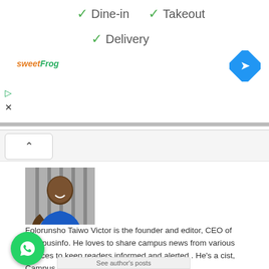[Figure (screenshot): Top banner ad area showing dine-in, takeout, delivery checkmarks with sweetFrog logo and blue navigation diamond icon]
[Figure (photo): Profile photo of Folorunsho Taiwo, a man in a blue shirt, smiling, seated against a striped background]
Folorunsho Taiwo
Folorunsho Taiwo Victor is the founder and editor, CEO of Campusinfo. He loves to share campus news from various sources to keep readers informed and alerted . He’s a cist, Campus Reporter, Students PR.